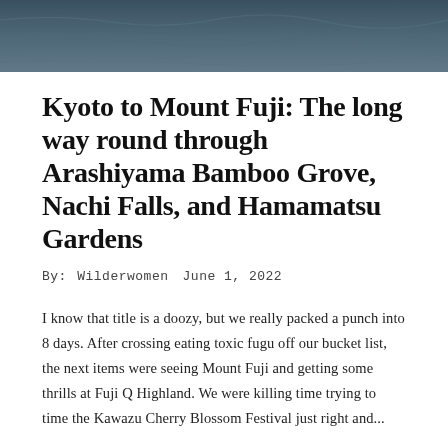[Figure (photo): Dark water surface photo strip at top of page]
Kyoto to Mount Fuji: The long way round through Arashiyama Bamboo Grove, Nachi Falls, and Hamamatsu Gardens
By: Wilderwomen   June 1, 2022
I know that title is a doozy, but we really packed a punch into 8 days. After crossing eating toxic fugu off our bucket list, the next items were seeing Mount Fuji and getting some thrills at Fuji Q Highland. We were killing time trying to time the Kawazu Cherry Blossom Festival just right and...
READ MORE